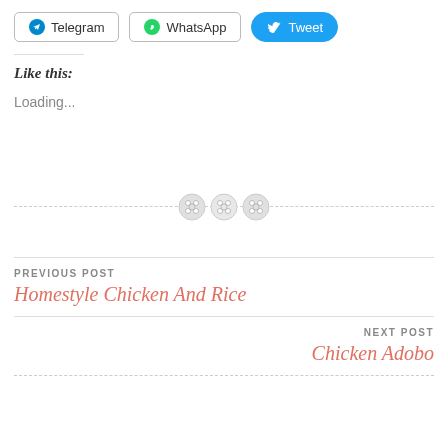[Figure (screenshot): Social share buttons: Telegram, WhatsApp, Tweet]
Like this:
Loading...
[Figure (illustration): Three button/sewing icons in a row on a dashed divider line]
PREVIOUS POST
Homestyle Chicken And Rice
NEXT POST
Chicken Adobo